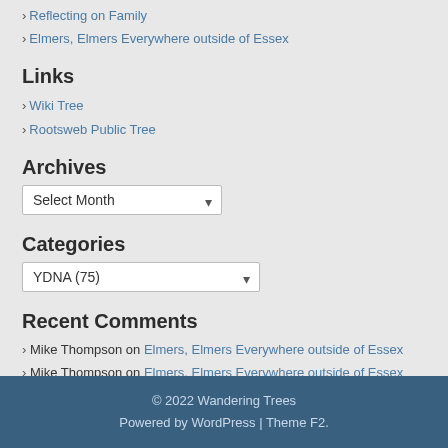› Reflecting on Family
› Elmers, Elmers Everywhere outside of Essex
Links
› Wiki Tree
› Rootsweb Public Tree
Archives
Select Month (dropdown)
Categories
YDNA (75) (dropdown)
Recent Comments
› Mike Thompson on Elmers, Elmers Everywhere outside of Essex
› Mike Thompson on Elmers, Elmers Everywhere outside of Essex
› Darren elmer on Elmers, Elmers Everywhere outside of Essex
› Mike Thompson on T2A1A in Ancient DNA
› Dan pye on T2A1A in Ancient DNA
© 2022 Wandering Trees
Powered by WordPress | Theme F2.